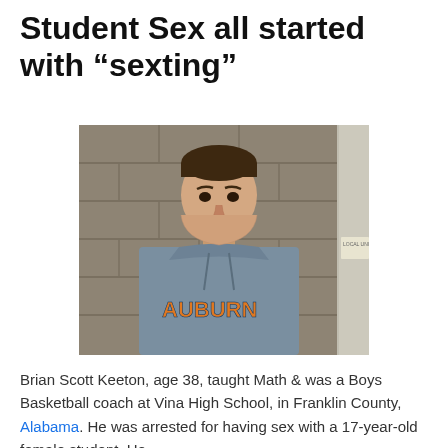Student Sex all started with “sexting”
[Figure (photo): Mugshot of Brian Scott Keeton, a heavyset white male in his late 30s wearing a gray Auburn hoodie sweatshirt, photographed against a tan/beige cinder block wall background.]
Brian Scott Keeton, age 38, taught Math & was a Boys Basketball coach at Vina High School, in Franklin County, Alabama. He was arrested for having sex with a 17-year-old female student. He